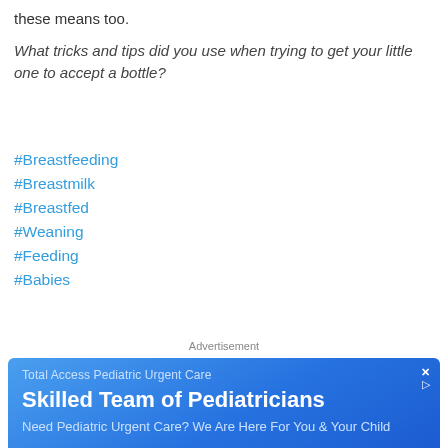these means too.
What tricks and tips did you use when trying to get your little one to accept a bottle?
#Breastfeeding
#Breastmilk
#Breastfed
#Weaning
#Feeding
#Babies
Advertisement
[Figure (screenshot): Blue advertisement box for Total Access Pediatric Urgent Care with headline 'Skilled Team of Pediatricians' and subtext 'Need Pediatric Urgent Care? We Are Here For You & Your Child']
[Figure (map): Google Maps screenshot showing street map with a red location pin marker in the center, green park area visible, and urban road grid layout.]